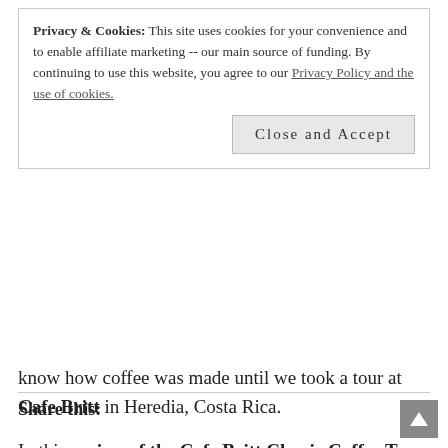Privacy & Cookies: This site uses cookies for your convenience and to enable affiliate marketing -- our main source of funding. By continuing to use this website, you agree to our Privacy Policy and the use of cookies.
Close and Accept
know how coffee was made until we took a tour at Cafe Britt in Heredia, Costa Rica.
In this review of the Cafe Britt Classic Coffee Tour, you'll find an overview of our tour experience and my thoughts on the tour. Is it worth seeing? Is it worth the price? I'll answer these questions here. You may also see a photo of a cute fuzzy that made a brief appearance — giving our tour an extra splash of flavor. Continue reading →
Share this: